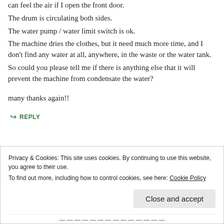can feel the air if I open the front door.
The drum is circulating both sides.
The water pump / water limit switch is ok.
The machine dries the clothes, but it need much more time, and I don't find any water at all, anywhere, in the waste or the water tank.
So could you please tell me if there is anything else that it will prevent the machine from condensate the water?

many thanks again!!
↳ REPLY
Privacy & Cookies: This site uses cookies. By continuing to use this website, you agree to their use.
To find out more, including how to control cookies, see here: Cookie Policy
Close and accept